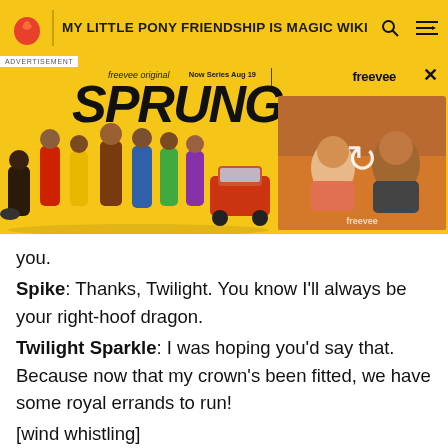MY LITTLE PONY FRIENDSHIP IS MAGIC WIKI
[Figure (screenshot): Advertisement for Freevee original series 'SPRUNG' showing cast members walking and a video thumbnail. Yellow background with bold italic title. 'Now Series Aug 19 | freevee' text in top right. Close button (X) in corner.]
you.
Spike: Thanks, Twilight. You know I'll always be your right-hoof dragon.
Twilight Sparkle: I was hoping you'd say that. Because now that my crown's been fitted, we have some royal errands to run!
[wind whistling]
Rarity: And you're sure this is where Pinkie told us to get the blackberries for her special coronation dessert?